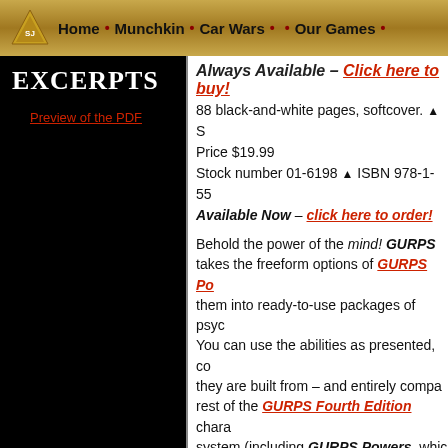Home • Munchkin • Car Wars • • Our Games •
Excerpts
Preview of the PDF
Always Available – Click here to buy!
88 black-and-white pages, softcover. ▲ S Price $19.99 Stock number 01-6198 ▲ ISBN 978-1-55 Available Now – click here to order!
Behold the power of the mind! GURPS takes the freeform options of GURPS Po them into ready-to-use packages of psyc You can use the abilities as presented, co they are built from – and entirely compa rest of the GURPS Fourth Edition chara system (including GURPS Powers, whic required to use these packages, but is rec
Even better, you can use the entire syste campaign: GURPS Psionic Powers dist complexity of hundreds of possibilities i powers and power groups. Why bother t out what advantages, enhancements, anc you need to describe psychic netrunning Ergokinesis group) or dream-stealing (ju Psychic Vampirism)? This book does all